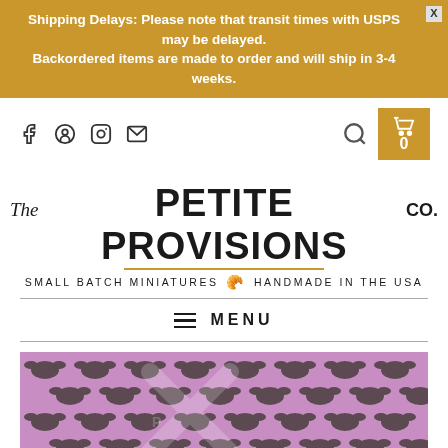Shipping Delays: Please note that transit times with USPS may be delayed. Backordered items are made to order and will ship in 3-4 weeks.
[Figure (logo): The Petite Provisions Co. logo with tagline: Small Batch Miniatures - Handmade in the USA]
MENU
[Figure (photo): Pink and grey bat pattern fabric/wallpaper image with Petite Provisions Co. watermark]